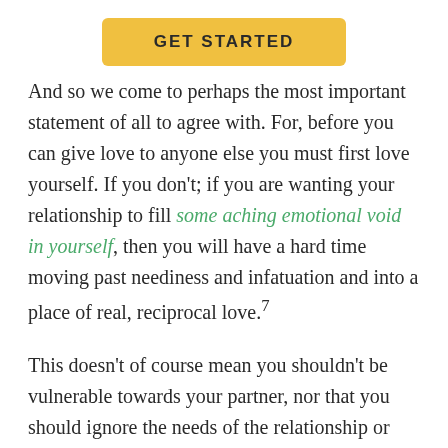[Figure (other): Yellow 'GET STARTED' button]
And so we come to perhaps the most important statement of all to agree with. For, before you can give love to anyone else you must first love yourself. If you don't; if you are wanting your relationship to fill some aching emotional void in yourself, then you will have a hard time moving past neediness and infatuation and into a place of real, reciprocal love.⁷
This doesn't of course mean you shouldn't be vulnerable towards your partner, nor that you should ignore the needs of the relationship or always put your own desires before theirs. What it